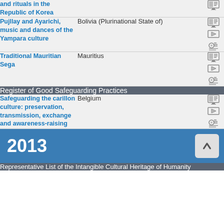| Element | Country | Icons |
| --- | --- | --- |
| and rituals in the Republic of Korea |  |  |
| Pujllay and Ayarichi, music and dances of the Yampara culture | Bolivia (Plurinational State of) |  |
| Traditional Mauritian Sega | Mauritius |  |
Register of Good Safeguarding Practices
| Element | Country | Icons |
| --- | --- | --- |
| Safeguarding the carillon culture: preservation, transmission, exchange and awareness-raising | Belgium |  |
2013
Representative List of the Intangible Cultural Heritage of Humanity